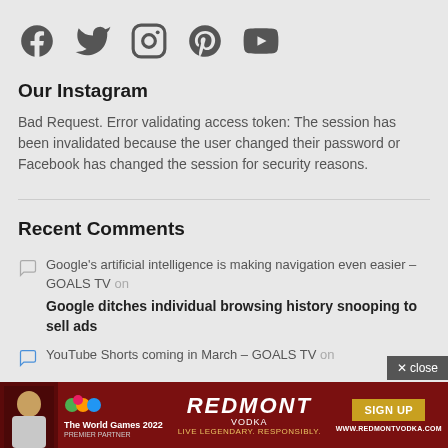[Figure (illustration): Five social media icons in a row: Facebook, Twitter, Instagram, Pinterest, YouTube]
Our Instagram
Bad Request. Error validating access token: The session has been invalidated because the user changed their password or Facebook has changed the session for security reasons.
Recent Comments
Google's artificial intelligence is making navigation even easier – GOALS TV on Google ditches individual browsing history snooping to sell ads
YouTube Shorts coming in March – GOALS TV on
[Figure (advertisement): Redmont Vodka advertisement banner: The World Games 2022 Premier Partner, SIGN UP button, www.redmontvodka.com]